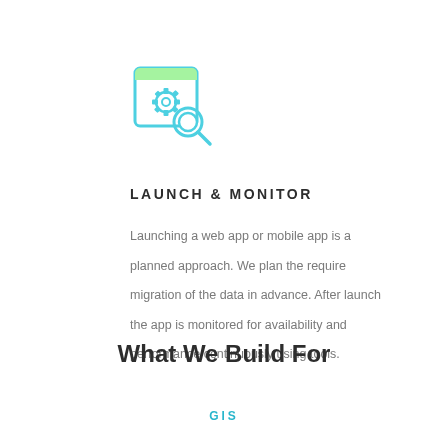[Figure (illustration): Icon of a tablet/screen with a gear/settings symbol and a magnifying glass overlay, rendered in teal/cyan and light green colors]
LAUNCH & MONITOR
Launching a web app or mobile app is a planned approach. We plan the require migration of the data in advance. After launch the app is monitored for availability and performance continuously using tools.
What We Build For
GIS